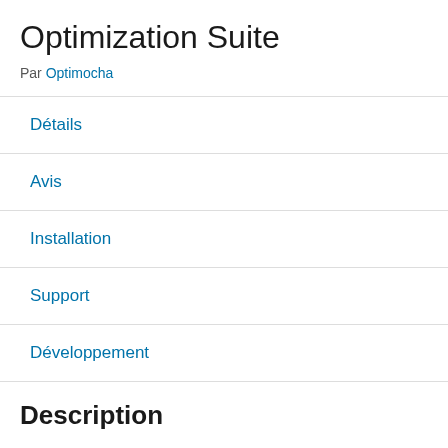Optimization Suite
Par Optimocha
Détails
Avis
Installation
Support
Développement
Description
WordPress est sans conteste le CMS le plus populaire au monde. Mais comme tous les géants, WordPress devient de plus en plus gros à chaque version et de plus en plus compliqué à gérer.